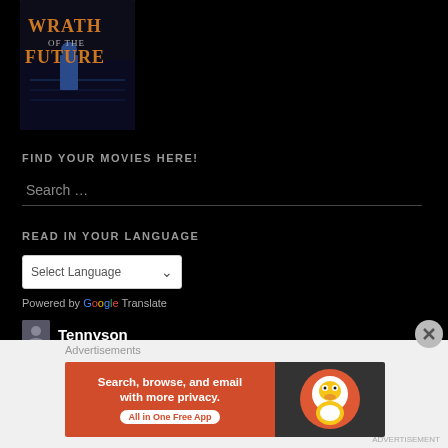[Figure (illustration): Wrath of the Future movie poster/logo with dark sci-fi imagery, orange and white text]
FIND YOUR MOVIES HERE!
Search ...
READ IN YOUR LANGUAGE
Select Language
Powered by Google Translate
Tennyson
Thallumaala
Nna Thaan Case Kodu
Advertisements
[Figure (screenshot): DuckDuckGo advertisement banner: Search, browse, and email with more privacy. All in One Free App]